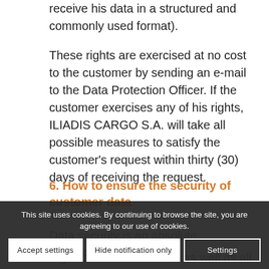receive his data in a structured and commonly used format).
These rights are exercised at no cost to the customer by sending an e-mail to the Data Protection Officer. If the customer exercises any of his rights, ILIADIS CARGO S.A. will take all possible measures to satisfy the customer's request within thirty (30) days of receiving the request.
6. How to ensure the security of customer data
Data security is an absolute commitment for
nis, all
organizational measures as well as all of the